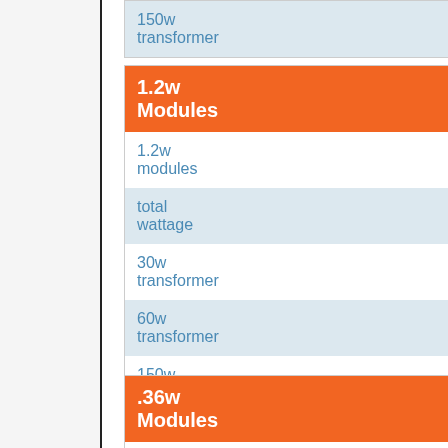| 150w transformer |  |
| --- | --- |
| 1.2w Modules |
| --- |
| 1.2w modules |  |
| total wattage |  |
| 30w transformer |  |
| 60w transformer |  |
| 150w transformer |  |
| .36w Modules |
| --- |
| .36w modules |  |
| total wattage |  |